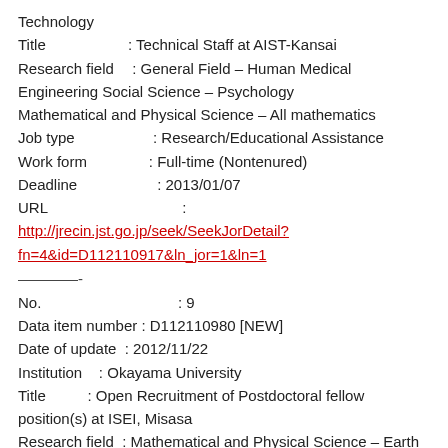Technology
Title           : Technical Staff at AIST-Kansai
Research field  : General Field – Human Medical Engineering Social Science – Psychology
Mathematical and Physical Science – All mathematics
Job type        : Research/Educational Assistance
Work form       : Full-time (Nontenured)
Deadline        : 2013/01/07
URL             : http://jrecin.jst.go.jp/seek/SeekJorDetail?fn=4&id=D112110917&ln_jor=1&ln=1
————-
No.             : 9
Data item number : D112110980 [NEW]
Date of update   : 2012/11/22
Institution      : Okayama University
Title            : Open Recruitment of Postdoctoral fellow position(s) at ISEI, Misasa
Research field   : Mathematical and Physical Science – Earth and Planetary Science